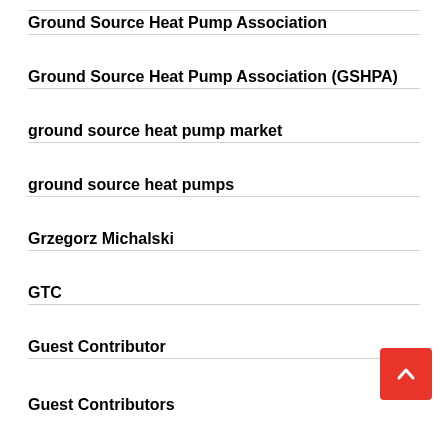Ground Source Heat Pump Association
Ground Source Heat Pump Association (GSHPA)
ground source heat pump market
ground source heat pumps
Grzegorz Michalski
GTC
Guest Contributor
Guest Contributors